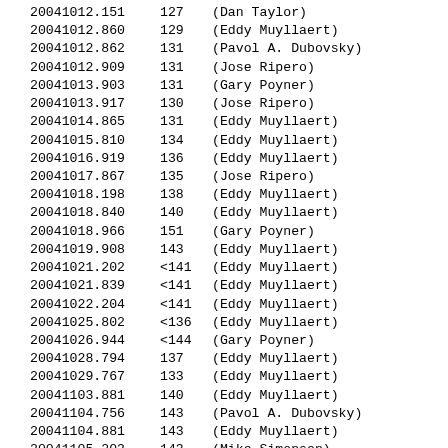| ID | Value | Name |
| --- | --- | --- |
| 20041012.151 | 127 | (Dan Taylor) |
| 20041012.860 | 129 | (Eddy Muyllaert) |
| 20041012.862 | 131 | (Pavol A. Dubovsky) |
| 20041012.909 | 131 | (Jose Ripero) |
| 20041013.903 | 131 | (Gary Poyner) |
| 20041013.917 | 130 | (Jose Ripero) |
| 20041014.865 | 131 | (Eddy Muyllaert) |
| 20041015.810 | 134 | (Eddy Muyllaert) |
| 20041016.919 | 136 | (Eddy Muyllaert) |
| 20041017.867 | 135 | (Jose Ripero) |
| 20041018.198 | 138 | (Eddy Muyllaert) |
| 20041018.840 | 140 | (Eddy Muyllaert) |
| 20041018.966 | 151 | (Gary Poyner) |
| 20041019.908 | 143 | (Eddy Muyllaert) |
| 20041021.202 | <141 | (Eddy Muyllaert) |
| 20041021.839 | <141 | (Eddy Muyllaert) |
| 20041022.204 | <141 | (Eddy Muyllaert) |
| 20041025.802 | <136 | (Eddy Muyllaert) |
| 20041026.944 | <144 | (Gary Poyner) |
| 20041028.794 | 137 | (Eddy Muyllaert) |
| 20041029.767 | 133 | (Eddy Muyllaert) |
| 20041103.881 | 140 | (Eddy Muyllaert) |
| 20041104.756 | 143 | (Pavol A. Dubovsky) |
| 20041104.881 | 143 | (Eddy Muyllaert) |
| 20041105.203 | 143 | (Mike Simonsen) |
| 20041106.228 | 147 | (Mike Simonsen) |
| 20041108.278 | <145 | (Mike Simonsen) |
| 20041108.974 | <141 | (Eddy Muyllaert) |
| 20041109.222 | 150 | (Mike Simonsen) |
| 20041109.391 | 149 | (Dan Taylor) |